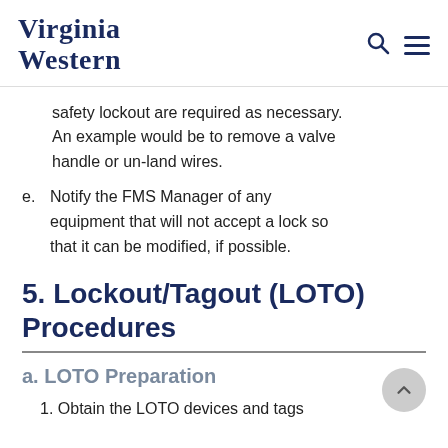VIRGINIA WESTERN
safety lockout are required as necessary. An example would be to remove a valve handle or un-land wires.
e. Notify the FMS Manager of any equipment that will not accept a lock so that it can be modified, if possible.
5. Lockout/Tagout (LOTO) Procedures
a. LOTO Preparation
1. Obtain the LOTO devices and tags